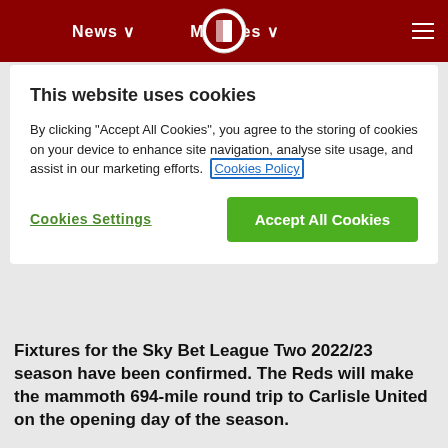News  Matches
This website uses cookies
By clicking “Accept All Cookies”, you agree to the storing of cookies on your device to enhance site navigation, analyse site usage, and assist in our marketing efforts. Cookies Policy
Cookies Settings | Accept All Cookies
Fixtures for the Sky Bet League Two 2022/23 season have been confirmed. The Reds will make the mammoth 694-mile round trip to Carlisle United on the opening day of the season.
The first home game of the season will see the Red Devils host Leyton Orient on Saturday, 6th August.